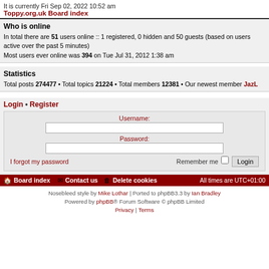It is currently Fri Sep 02, 2022 10:52 am
Toppy.org.uk Board index
Who is online
In total there are 51 users online :: 1 registered, 0 hidden and 50 guests (based on users active over the past 5 minutes)
Most users ever online was 394 on Tue Jul 31, 2012 1:38 am
Statistics
Total posts 274477 • Total topics 21224 • Total members 12381 • Our newest member JazL
Login • Register
Username:
Password:
I forgot my password
Remember me
Login
Board index  Contact us  Delete cookies  All times are UTC+01:00
Nosebleed style by Mike Lothar | Ported to phpBB3.3 by Ian Bradley
Powered by phpBB® Forum Software © phpBB Limited
Privacy | Terms